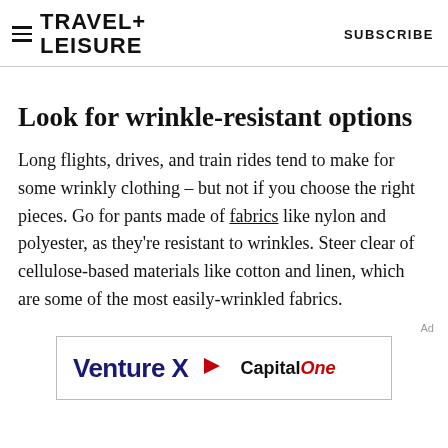TRAVEL+ LEISURE   SUBSCRIBE
Look for wrinkle-resistant options
Long flights, drives, and train rides tend to make for some wrinkly clothing – but not if you choose the right pieces. Go for pants made of fabrics like nylon and polyester, as they're resistant to wrinkles. Steer clear of cellulose-based materials like cotton and linen, which are some of the most easily-wrinkled fabrics.
Ad
[Figure (other): Venture X Capital One advertisement banner]